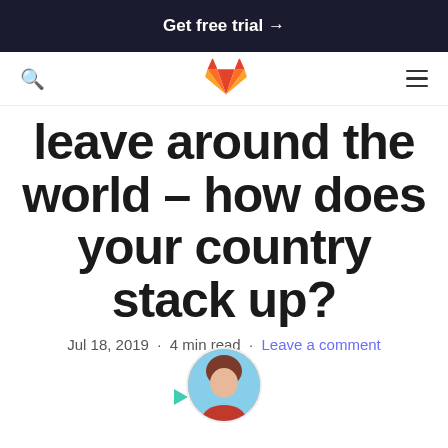Get free trial →
[Figure (logo): GitLab fox logo in orange]
leave around the world – how does your country stack up?
Jul 18, 2019 · 4 min read · Leave a comment
[Figure (photo): Author headshot, woman with short red-brown hair, circular crop, partially visible]